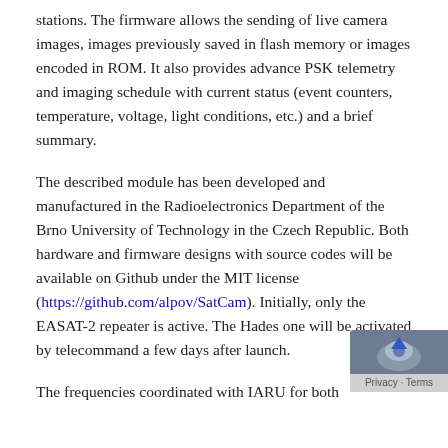stations. The firmware allows the sending of live camera images, images previously saved in flash memory or images encoded in ROM. It also provides advance PSK telemetry and imaging schedule with current status (event counters, temperature, voltage, light conditions, etc.) and a brief summary.
The described module has been developed and manufactured in the Radioelectronics Department of the Brno University of Technology in the Czech Republic. Both hardware and firmware designs with source codes will be available on Github under the MIT license (https://github.com/alpov/SatCam). Initially, only the EASAT-2 repeater is active. The Hades one will be activated by telecommand a few days after launch.
The frequencies coordinated with IARU for both
[Figure (other): Privacy & Terms reCAPTCHA badge overlay in bottom-right corner]